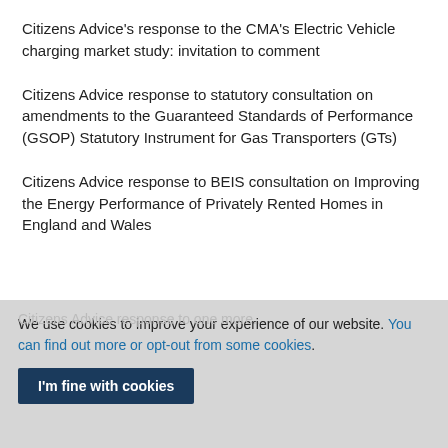Citizens Advice's response to the CMA's Electric Vehicle charging market study: invitation to comment
Citizens Advice response to statutory consultation on amendments to the Guaranteed Standards of Performance (GSOP) Statutory Instrument for Gas Transporters (GTs)
Citizens Advice response to BEIS consultation on Improving the Energy Performance of Privately Rented Homes in England and Wales
We use cookies to improve your experience of our website. You can find out more or opt-out from some cookies.
I'm fine with cookies